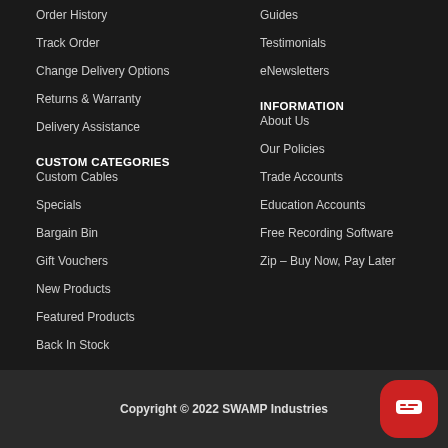Order History
Track Order
Change Delivery Options
Returns & Warranty
Delivery Assistance
Guides
Testimonials
eNewsletters
CUSTOM CATEGORIES
INFORMATION
Custom Cables
Specials
Bargain Bin
Gift Vouchers
New Products
Featured Products
Back In Stock
About Us
Our Policies
Trade Accounts
Education Accounts
Free Recording Software
Zip – Buy Now, Pay Later
Copyright © 2022 SWAMP Industries